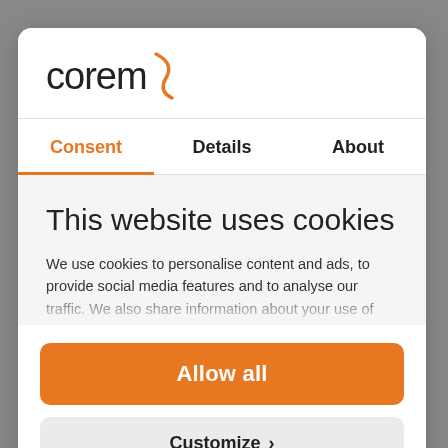[Figure (logo): Corem logo with orange swirl/bracket mark]
Consent | Details | About
This website uses cookies
We use cookies to personalise content and ads, to provide social media features and to analyse our traffic. We also share information about your use of
Allow all
Customize >